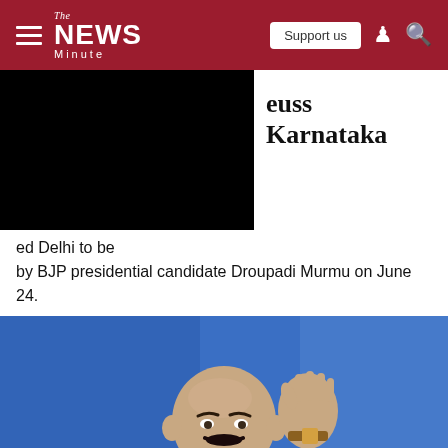The News Minute — Support us
...cuss Karnataka
...ed Delhi to be ...by BJP presidential candidate Droupadi Murmu on June 24.
[Figure (photo): A man (politician) speaking at a podium with a microphone, wearing white clothes and a traditional red stole, gesturing with raised right hand, in front of a blue background.]